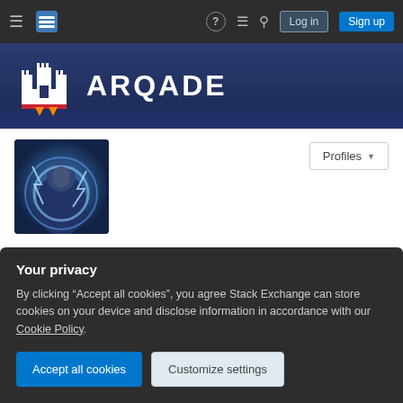Arqade — Log in | Sign up navigation bar
[Figure (logo): Arqade logo with castle/rocket icon and ARQADE text in white on dark blue background]
[Figure (photo): User profile avatar showing a person with lightning/electric effects in blue tones]
Spevacus
Member for 2 years, 8 months   Last seen this week
Your privacy

By clicking "Accept all cookies", you agree Stack Exchange can store cookies on your device and disclose information in accordance with our Cookie Policy.